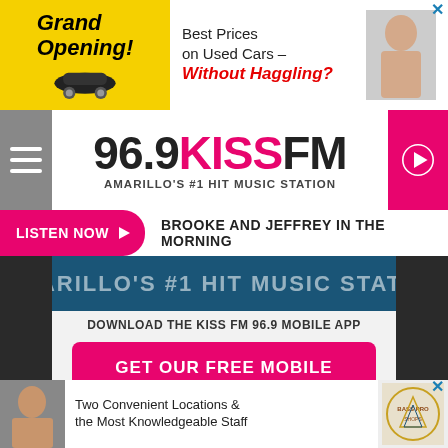[Figure (screenshot): Top advertisement banner: Grand Opening car dealership ad on the left in yellow, Best Prices on Used Cars Without Haggling ad on the right with a person photo]
[Figure (logo): 96.9 KISS FM radio station logo with text AMARILLO'S #1 HIT MUSIC STATION, hamburger menu on left, pink play button on right]
LISTEN NOW  BROOKE AND JEFFREY IN THE MORNING
AMARILLO'S #1 HIT MUSIC STATION
DOWNLOAD THE KISS FM 96.9 MOBILE APP
GET OUR FREE MOBILE APP
Also listen on:  amazon alexa
[Figure (screenshot): Bottom advertisement banner: Two Convenient Locations & the Most Knowledgeable Staff with a person photo and Bass Pro Shops logo]